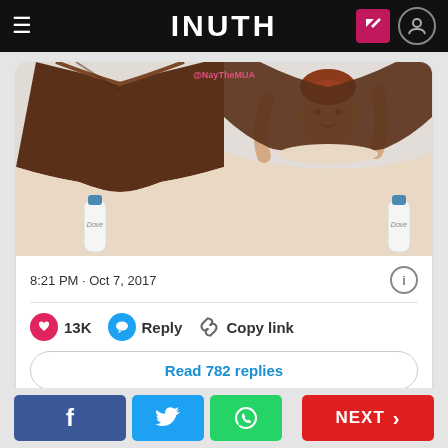INUTH
[Figure (photo): Screenshot of a tweet showing a Dove advertisement image side-by-side: left side shows a dark-skinned woman (represented by a dark brown top over beige clothing) and right side shows a light-skinned red-haired woman removing a brown top, with Dove body wash bottles visible. Watermark @NayTheMUA visible. Tweet metadata: 8:21 PM · Oct 7, 2017. 13K likes. Reply and Copy link options. Read 782 replies button.]
8:21 PM · Oct 7, 2017
13K   Reply   Copy link
Read 782 replies
f   [Twitter bird]   [WhatsApp]   NEXT >